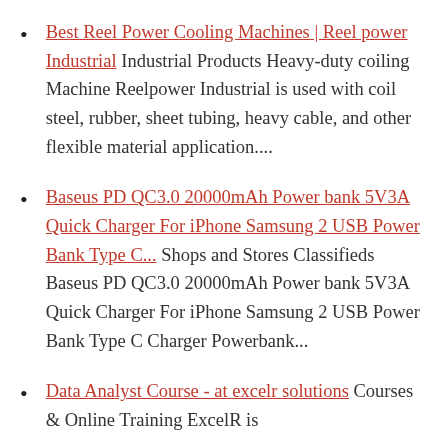Best Reel Power Cooling Machines | Reel power Industrial Industrial Products Heavy-duty coiling Machine Reelpower Industrial is used with coil steel, rubber, sheet tubing, heavy cable, and other flexible material application....
Baseus PD QC3.0 20000mAh Power bank 5V3A Quick Charger For iPhone Samsung 2 USB Power Bank Type C... Shops and Stores Classifieds Baseus PD QC3.0 20000mAh Power bank 5V3A Quick Charger For iPhone Samsung 2 USB Power Bank Type C Charger Powerbank...
Data Analyst Course - at excelr solutions Courses & Online Training ExcelR is